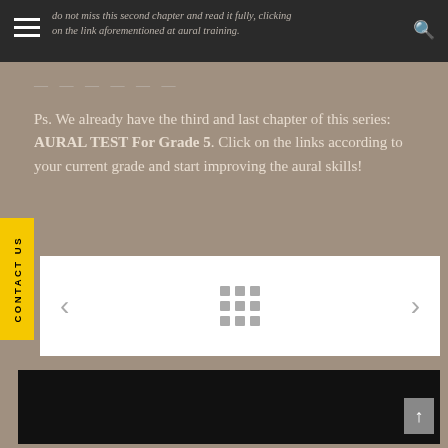do not miss this second chapter and read it fully, clicking on the link aforementioned at aural training.
— — — — — —
Ps. We already have the third and last chapter of this series: AURAL TEST For Grade 5. Click on the links according to your current grade and start improving the aural skills!
[Figure (other): Carousel navigation with left arrow, 3x3 dot grid, and right arrow on white background]
[Figure (photo): Black video area at bottom of page]